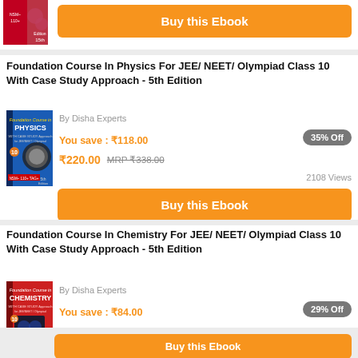[Figure (photo): Book thumbnail partially visible at top]
Buy this Ebook
Foundation Course In Physics For JEE/ NEET/ Olympiad Class 10 With Case Study Approach - 5th Edition
[Figure (photo): Foundation Course in Physics book cover, blue cover, 5th Edition, Class 10]
By Disha Experts
You save : ₹118.00
35% Off
₹220.00 MRP ₹338.00
2108 Views
Buy this Ebook
Foundation Course In Chemistry For JEE/ NEET/ Olympiad Class 10 With Case Study Approach - 5th Edition
[Figure (photo): Foundation Course in Chemistry book cover, red cover, 5th Edition, Class 10]
By Disha Experts
You save : ₹84.00
29% Off